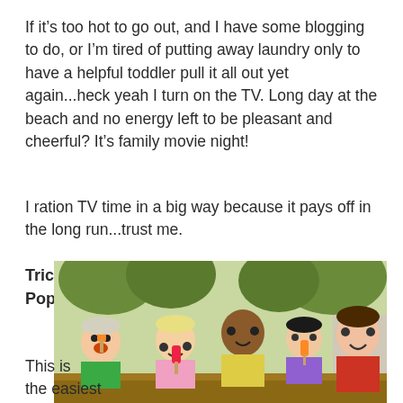If it's too hot to go out, and I have some blogging to do, or I'm tired of putting away laundry only to have a helpful toddler pull it all out yet again...heck yeah I turn on the TV. Long day at the beach and no energy left to be pleasant and cheerful? It's family movie night!
I ration TV time in a big way because it pays off in the long run...trust me.
Trick 4: Popsicles
[Figure (photo): Group of children and an adult woman eating popsicles outdoors, seated at a table with trees in background.]
This is the easiest